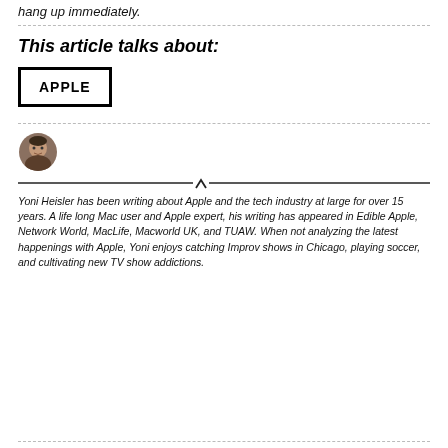hang up immediately.
This article talks about:
APPLE
[Figure (photo): Circular author headshot photo of Yoni Heisler]
Yoni Heisler has been writing about Apple and the tech industry at large for over 15 years. A life long Mac user and Apple expert, his writing has appeared in Edible Apple, Network World, MacLife, Macworld UK, and TUAW. When not analyzing the latest happenings with Apple, Yoni enjoys catching Improv shows in Chicago, playing soccer, and cultivating new TV show addictions.